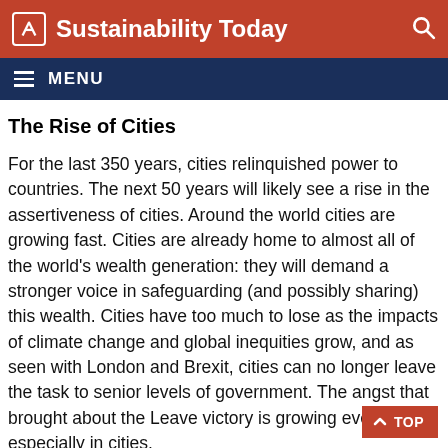Sustainability Today
MENU
The Rise of Cities
For the last 350 years, cities relinquished power to countries. The next 50 years will likely see a rise in the assertiveness of cities. Around the world cities are growing fast. Cities are already home to almost all of the world's wealth generation: they will demand a stronger voice in safeguarding (and possibly sharing) this wealth. Cities have too much to lose as the impacts of climate change and global inequities grow, and as seen with London and Brexit, cities can no longer leave the task to senior levels of government. The angst that brought about the Leave victory is growing everywhere, especially in cities.
As stock markets contracted and real estate